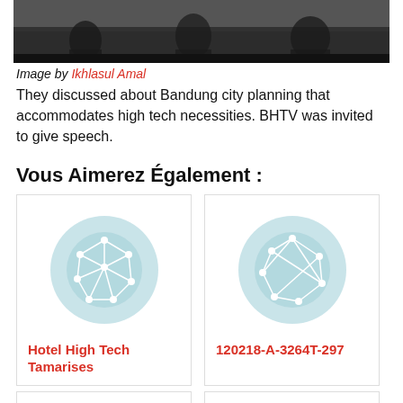[Figure (photo): A black and white photo of people in a room, likely a meeting or event setting.]
Image by Ikhlasul Amal
They discussed about Bandung city planning that accommodates high tech necessities. BHTV was invited to give speech.
Vous Aimerez Également :
[Figure (illustration): Network graph icon on light blue circle background]
Hotel High Tech Tamarises
[Figure (illustration): Network graph icon on light blue circle background]
120218-A-3264T-297
[Figure (illustration): Network graph icon on light blue circle background (partially visible)]
[Figure (illustration): Network graph icon on light blue circle background (partially visible)]